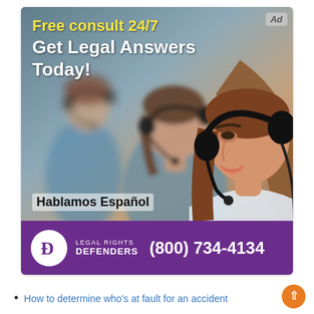[Figure (infographic): Legal advertisement banner showing a woman with a headset (call center agent), with text overlay 'Free consult 24/7' in yellow and 'Get Legal Answers Today!' in white, a blurred person in background, 'Hablamos Español' text, and a purple footer with Legal Rights Defenders logo and phone number (800) 734-4134. An 'Ad' badge is in the top right corner.]
How to determine who's at fault for an accident